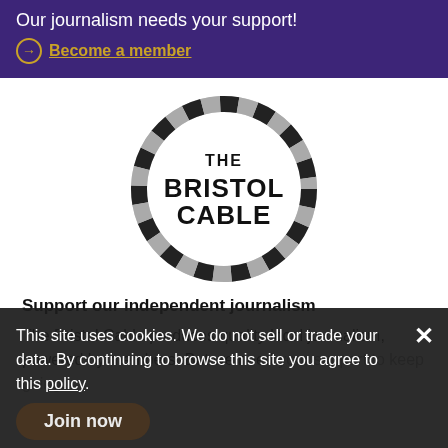Our journalism needs your support! → Become a member
[Figure (logo): The Bristol Cable logo — circular rope/twine border in black and grey with 'THE BRISTOL CABLE' text in bold geometric font centered inside]
Support our independent journalism
The Bristol Cable produces quality local journalism, powered by members. But we need your support to keep going.
This site uses cookies. We do not sell or trade your data. By continuing to browse this site you agree to this policy.